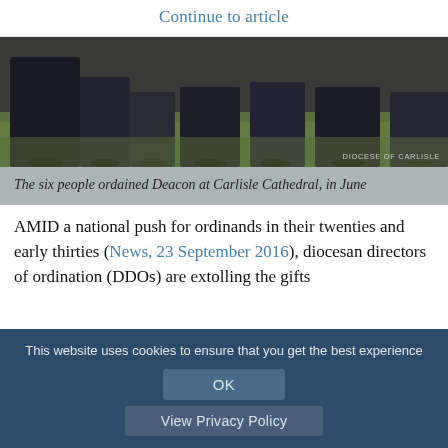Continue to article
[Figure (photo): A photograph showing the lower bodies and feet of six people standing on grass, wearing formal/clerical attire including dark robes and shoes. Photo credit: Diocese of Carlisle.]
The six people ordained Deacon at Carlisle Cathedral, in June
AMID a national push for ordinands in their twenties and early thirties (News, 23 September 2016), diocesan directors of ordination (DDOs) are extolling the gifts
This website uses cookies to ensure that you get the best experience
OK
View Privacy Policy